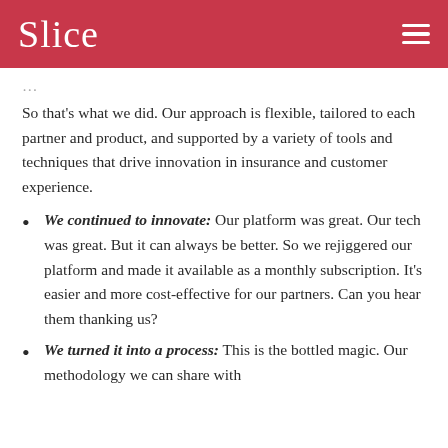Slice
So that's what we did. Our approach is flexible, tailored to each partner and product, and supported by a variety of tools and techniques that drive innovation in insurance and customer experience.
We continued to innovate: Our platform was great. Our tech was great. But it can always be better. So we rejiggered our platform and made it available as a monthly subscription. It's easier and more cost-effective for our partners. Can you hear them thanking us?
We turned it into a process: This is the bottled magic. Our methodology we can share with